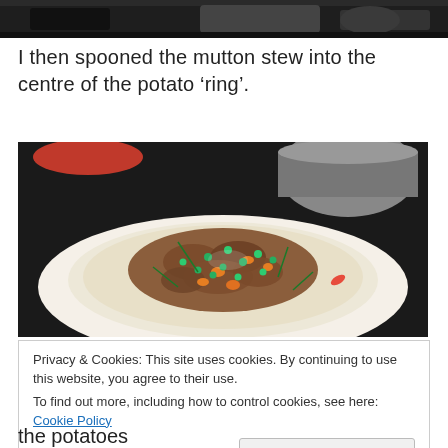[Figure (photo): Top portion of a kitchen photo showing dark stovetop equipment]
I then spooned the mutton stew into the centre of the potato ‘ring’.
[Figure (photo): A white plate with mashed potato ring filled with mutton stew containing peas, carrots and herbs, on a dark stovetop background]
Privacy & Cookies: This site uses cookies. By continuing to use this website, you agree to their use.
To find out more, including how to control cookies, see here: Cookie Policy
the potatoes